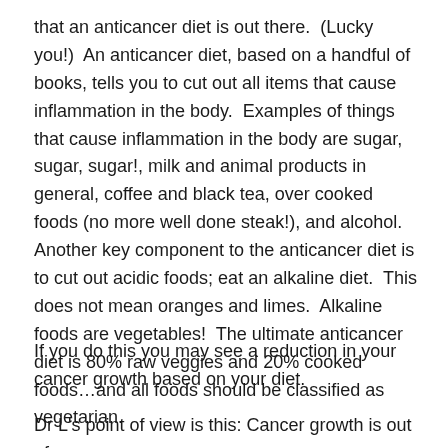that an anticancer diet is out there.  (Lucky you!)  An anticancer diet, based on a handful of books, tells you to cut out all items that cause inflammation in the body.  Examples of things that cause inflammation in the body are sugar, sugar, sugar!, milk and animal products in general, coffee and black tea, over cooked foods (no more well done steak!), and alcohol.  Another key component to the anticancer diet is to cut out acidic foods; eat an alkaline diet.  This does not mean oranges and limes.  Alkaline foods are vegetables!  The ultimate anticancer diet is 80% raw veggies and 20% cooked foods…and all foods should be classified as vegetarian.
If you do this you may see a reduction in your cancer growth based on your diet.
Dr L's point of view is this: Cancer growth is out of my